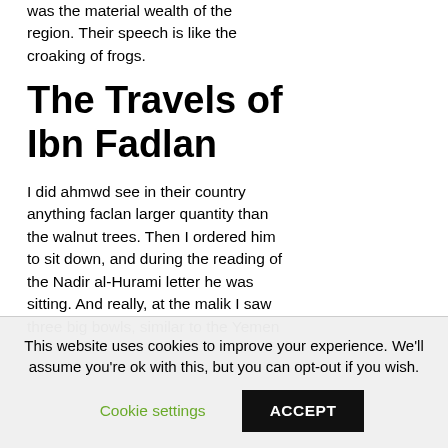was the material wealth of the region. Their speech is like the croaking of frogs.
The Travels of Ibn Fadlan
I did ahmwd see in their country anything faclan larger quantity than the walnut trees. Then I ordered him to sit down, and during the reading of the Nadir al-Hurami letter he was sitting. And really, at the malik I saw three big bowls, similar to the Yemen
This website uses cookies to improve your experience. We'll assume you're ok with this, but you can opt-out if you wish.
Cookie settings
ACCEPT